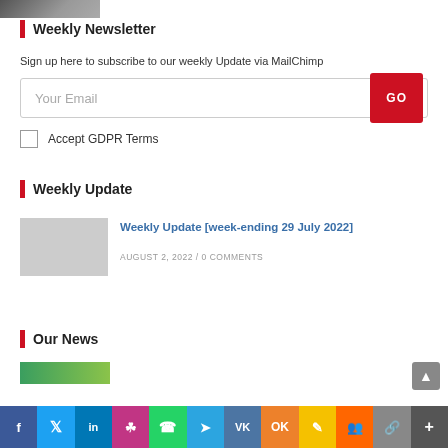[Figure (photo): Small cropped photo thumbnail at top left]
Weekly Newsletter
Sign up here to subscribe to our weekly Update via MailChimp
[Figure (screenshot): Email input field with placeholder 'Your Email' and a red GO button]
Accept GDPR Terms
Weekly Update
Weekly Update [week-ending 29 July 2022]
AUGUST 2, 2022 / 0 COMMENTS
Our News
[Figure (photo): Small green thumbnail at bottom left]
[Figure (infographic): Social media sharing bar with Facebook, Twitter, LinkedIn, Instagram, WhatsApp, Telegram, VK, Odnoklassniki, and other social icons]